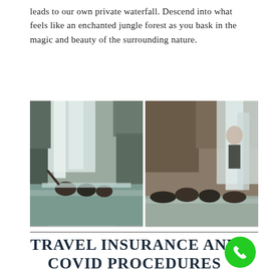leads to our own private waterfall. Descend into what feels like an enchanted jungle forest as you bask in the magic and beauty of the surrounding nature.
[Figure (photo): Two side-by-side photos of people enjoying a waterfall in a jungle setting. Left photo shows three people laughing and splashing in the pool at the base of a waterfall. Right photo shows a group of women sitting and posing near the waterfall.]
TRAVEL INSURANCE AND COVID PROCEDURES